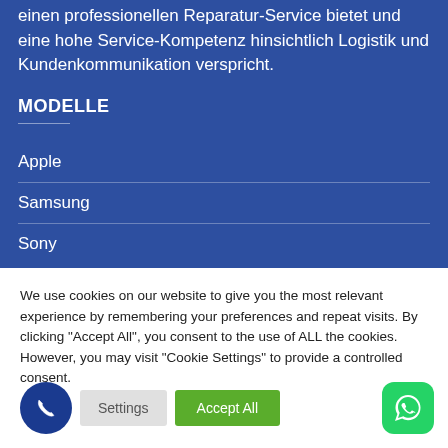einen professionellen Reparatur-Service bietet und eine hohe Service-Kompetenz hinsichtlich Logistik und Kundenkommunikation verspricht.
MODELLE
Apple
Samsung
Sony
We use cookies on our website to give you the most relevant experience by remembering your preferences and repeat visits. By clicking "Accept All", you consent to the use of ALL the cookies. However, you may visit "Cookie Settings" to provide a controlled consent.